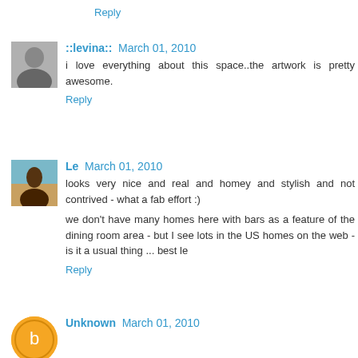Reply
::levina:: March 01, 2010
i love everything about this space..the artwork is pretty awesome.
Reply
Le March 01, 2010
looks very nice and real and homey and stylish and not contrived - what a fab effort :)
we don't have many homes here with bars as a feature of the dining room area - but I see lots in the US homes on the web - is it a usual thing ... best le
Reply
Unknown March 01, 2010